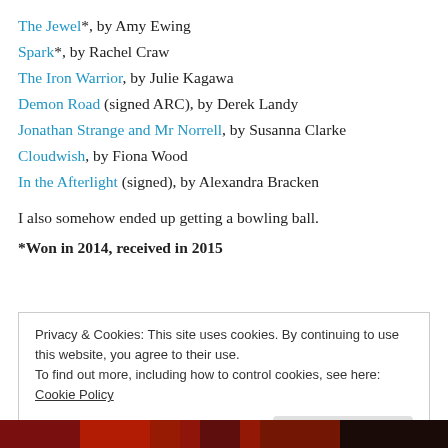The Jewel*, by Amy Ewing
Spark*, by Rachel Craw
The Iron Warrior, by Julie Kagawa
Demon Road (signed ARC), by Derek Landy
Jonathan Strange and Mr Norrell, by Susanna Clarke
Cloudwish, by Fiona Wood
In the Afterlight (signed), by Alexandra Bracken
I also somehow ended up getting a bowling ball.
*Won in 2014, received in 2015
Privacy & Cookies: This site uses cookies. By continuing to use this website, you agree to their use.
To find out more, including how to control cookies, see here: Cookie Policy
[Figure (photo): Dark red/black photo strip at the bottom of the page]